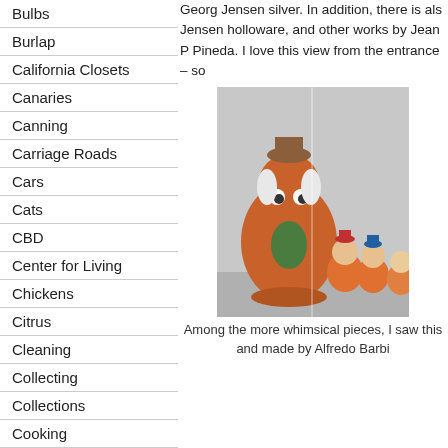Bulbs
Burlap
California Closets
Canaries
Canning
Carriage Roads
Cars
Cats
CBD
Center for Living
Chickens
Citrus
Cleaning
Collecting
Collections
Cooking
Crafts
Georg Jensen silver. In addition, there is als Jensen holloware, and other works by Jean P Pineda. I love this view from the entrance – so
[Figure (photo): Ceramic figurines and decorative pottery pieces displayed on a shelf, including a large orange vase with a whimsical face and smaller colorful character figurines.]
Among the more whimsical pieces, I saw this and made by Alfredo Barbi